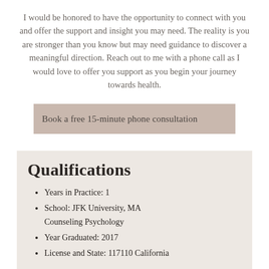I would be honored to have the opportunity to connect with you and offer the support and insight you may need. The reality is you are stronger than you know but may need guidance to discover a meaningful direction. Reach out to me with a phone call as I would love to offer you support as you begin your journey towards health.
Book a free 15-minute phone consultation
Qualifications
Years in Practice: 1
School: JFK University, MA Counseling Psychology
Year Graduated: 2017
License and State: 117110 California